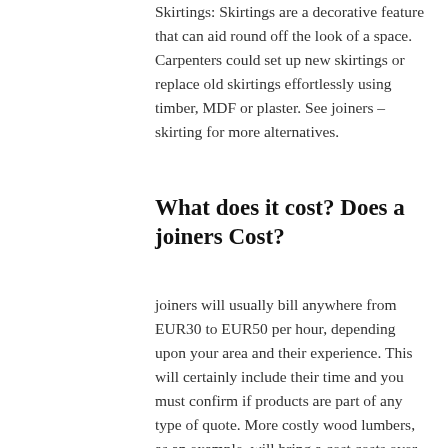Skirtings: Skirtings are a decorative feature that can aid round off the look of a space. Carpenters could set up new skirtings or replace old skirtings effortlessly using timber, MDF or plaster. See joiners – skirting for more alternatives.
What does it cost? Does a joiners Cost?
joiners will usually bill anywhere from EUR30 to EUR50 per hour, depending upon your area and their experience. This will certainly include their time and you must confirm if products are part of any type of quote. More costly wood lumbers, as an example, will bring a cost costs over soft timbers such as yearn.